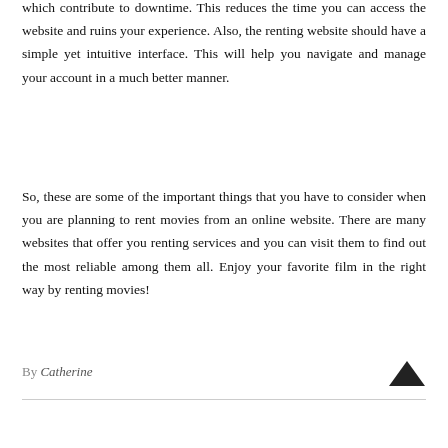which contribute to downtime. This reduces the time you can access the website and ruins your experience. Also, the renting website should have a simple yet intuitive interface. This will help you navigate and manage your account in a much better manner.
So, these are some of the important things that you have to consider when you are planning to rent movies from an online website. There are many websites that offer you renting services and you can visit them to find out the most reliable among them all. Enjoy your favorite film in the right way by renting movies!
By Catherine